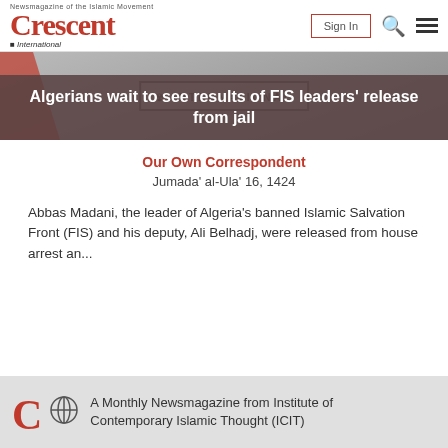Crescent International — Sign In [search] [menu]
[Figure (photo): Crescent International magazine banner image with red diagonal element on left and bordered text reading CRESCENT INTERNATIONAL in center]
Algerians wait to see results of FIS leaders' release from jail
Our Own Correspondent
Jumada' al-Ula' 16, 1424
Abbas Madani, the leader of Algeria's banned Islamic Salvation Front (FIS) and his deputy, Ali Belhadj, were released from house arrest an...
A Monthly Newsmagazine from Institute of Contemporary Islamic Thought (ICIT)